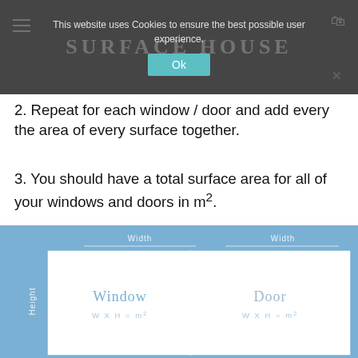SURFACE HOUSE
This website uses Cookies to ensure the best possible user experience.
2. Repeat for each window / door and add every the area of every surface together.
3. You should have a total surface area for all of your windows and doors in m².
[Figure (infographic): Two diagrams side by side on a blue background showing a Window and a Door, each with Width label at top and Height label on the left side, with formula W X H = m² inside each white box.]